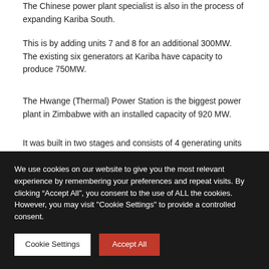The Chinese power plant specialist is also in the process of expanding Kariba South.
This is by adding units 7 and 8 for an additional 300MW. The existing six generators at Kariba have capacity to produce 750MW.
The Hwange (Thermal) Power Station is the biggest power plant in Zimbabwe with an installed capacity of 920 MW.
It was built in two stages and consists of 4 generating units
We use cookies on our website to give you the most relevant experience by remembering your preferences and repeat visits. By clicking “Accept All”, you consent to the use of ALL the cookies. However, you may visit "Cookie Settings" to provide a controlled consent.